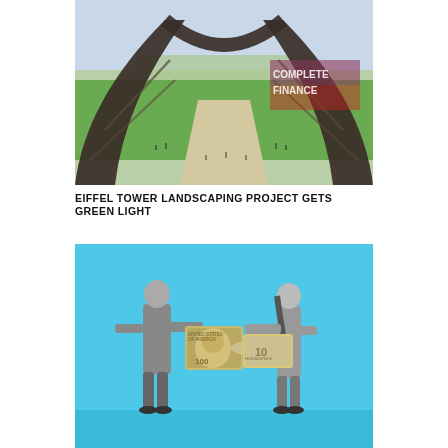[Figure (photo): Aerial view looking outward from beneath the Eiffel Tower, showing the grand arched ironwork legs framing a long green esplanade with crowds of tourists and trees, with red and blue watermark overlay text reading 'COMPLETE FINANCE' at right side.]
EIFFEL TOWER LANDSCAPING PROJECT GETS GREEN LIGHT
[Figure (photo): Illustration on a bright light-blue background showing a young Black man on the left and an Asian woman on the right, both in grayscale, each holding one half of a US $100 bill split as a jigsaw puzzle piece.]